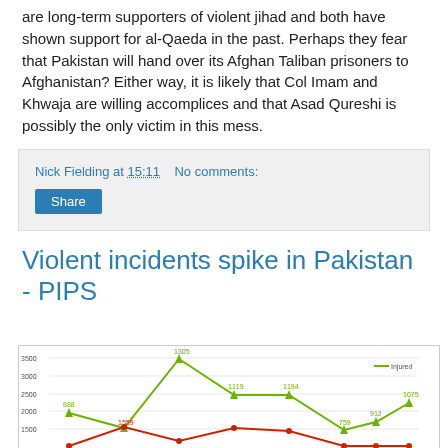are long-term supporters of violent jihad and both have shown support for al-Qaeda in the past. Perhaps they fear that Pakistan will hand over its Afghan Taliban prisoners to Afghanistan? Either way, it is likely that Col Imam and Khwaja are willing accomplices and that Asad Qureshi is possibly the only victim in this mess.
Nick Fielding at 15:11   No comments:
Share
Violent incidents spike in Pakistan - PIPS
[Figure (line-chart): Line chart showing injured and another series over time, with values 888, 1559, 1305, 1119, 1194, 759, 912, 1075 visible, y-axis from 1500 to 3500]